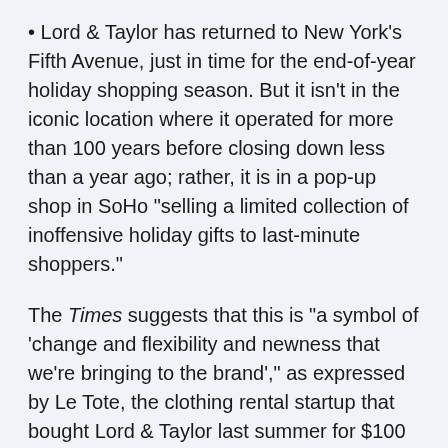• Lord & Taylor has returned to New York's Fifth Avenue, just in time for the end-of-year holiday shopping season. But it isn't in the iconic location where it operated for more than 100 years before closing down less than a year ago; rather, it is in a pop-up shop in SoHo "selling a limited collection of inoffensive holiday gifts to last-minute shoppers."
The Times suggests that this is "a symbol of 'change and flexibility and newness that we're bringing to the brand'," as expressed by Le Tote, the clothing rental startup that bought Lord & Taylor last summer for $100 million.
Not everyone is impressed.
"I don't think anyone's been hoping and praying someone would do this," Mark A...